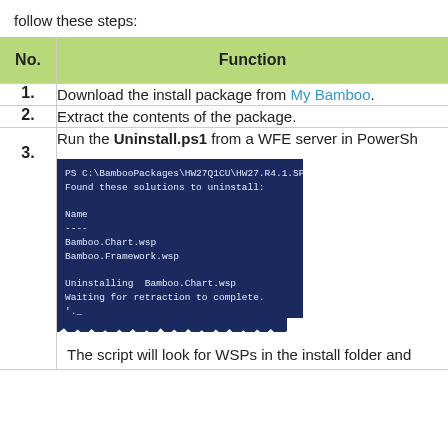follow these steps:
| No. | Function |
| --- | --- |
| 1. | Download the install package from My Bamboo. |
| 2. | Extract the contents of the package. |
| 3. | Run the Uninstall.ps1 from a WFE server in PowerShell. [screenshot] The script will look for WSPs in the install folder and |